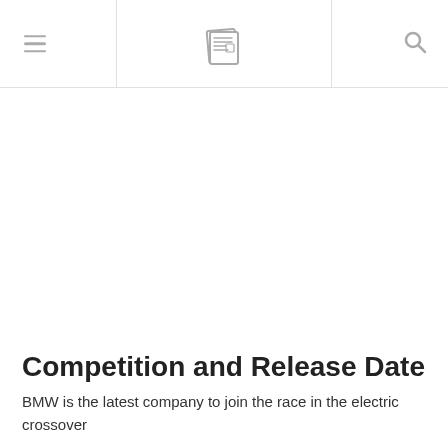Navigation header with hamburger menu, newspaper logo, and search icon
Competition and Release Date
BMW is the latest company to join the race in the electric crossover